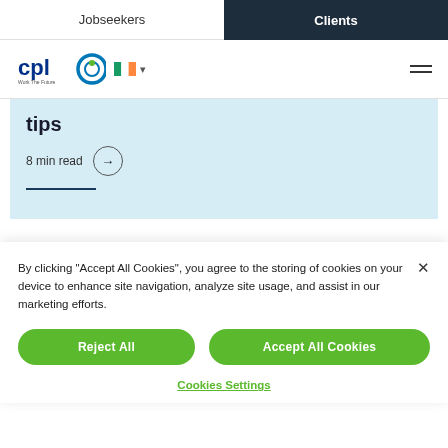Jobseekers | Clients
[Figure (logo): CPL Work The Future logo with Irish flag dropdown]
tips
8 min read →
By clicking "Accept All Cookies", you agree to the storing of cookies on your device to enhance site navigation, analyze site usage, and assist in our marketing efforts.
Reject All | Accept All Cookies
Cookies Settings